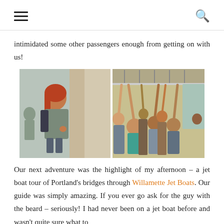≡  🔍
intimidated some other passengers enough from getting on with us!
[Figure (photo): Two side-by-side photos on a tram/light rail. Left photo shows a red-haired girl standing by a door, looking out, wearing a grey patterned top and backpack. Right photo shows a crowded tram interior with many children and adults holding overhead rails.]
Our next adventure was the highlight of my afternoon – a jet boat tour of Portland's bridges through Willamette Jet Boats. Our guide was simply amazing. If you ever go ask for the guy with the beard – seriously! I had never been on a jet boat before and wasn't quite sure what to